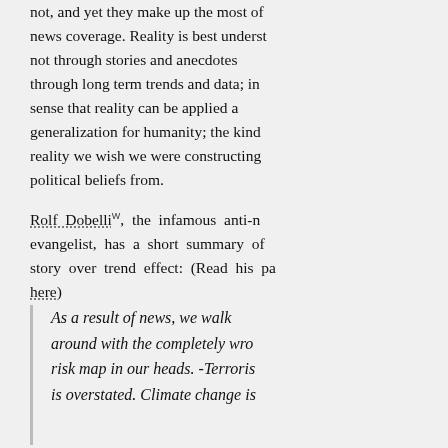not, and yet they make up the most of news coverage. Reality is best understood not through stories and anecdotes through long term trends and data; in sense that reality can be applied as generalization for humanity; the kind reality we wish we were constructing political beliefs from.
Rolf Dobelli W, the infamous anti-news evangelist, has a short summary of story over trend effect: (Read his paper here)
As a result of news, we walk around with the completely wrong risk map in our heads. -Terrorism is overstated. Climate change is...